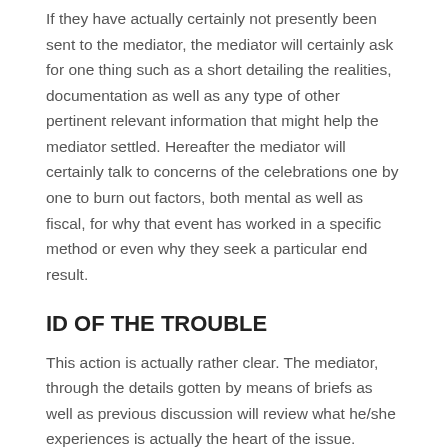If they have actually certainly not presently been sent to the mediator, the mediator will certainly ask for one thing such as a short detailing the realities, documentation as well as any type of other pertinent relevant information that might help the mediator settled. Hereafter the mediator will certainly talk to concerns of the celebrations one by one to burn out factors, both mental as well as fiscal, for why that event has worked in a specific method or even why they seek a particular end result.
ID OF THE TROUBLE
This action is actually rather clear. The mediator, through the details gotten by means of briefs as well as previous discussion will review what he/she experiences is actually the heart of the issue.
NEGOTIATING